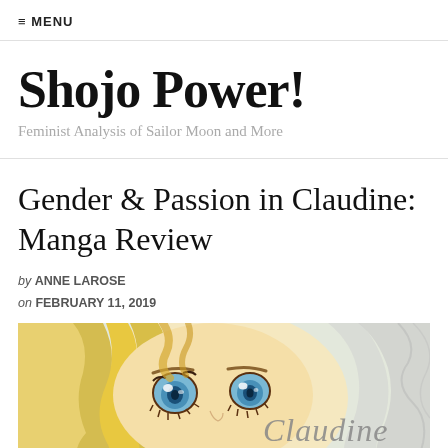≡ MENU
Shojo Power!
Feminist Analysis of Sailor Moon and More
Gender & Passion in Claudine: Manga Review
by ANNE LAROSE
on FEBRUARY 11, 2019
[Figure (illustration): Manga-style illustration of a blonde character with large blue eyes and wavy hair, with the title 'Claudine' in italic script overlay]